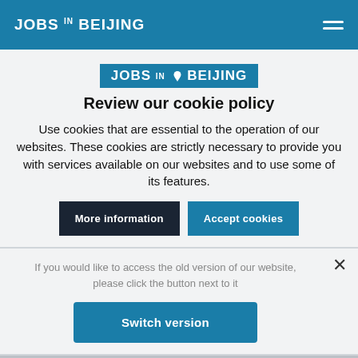JOBS IN BEIJING
JOBS IN BEIJING
Review our cookie policy
Use cookies that are essential to the operation of our websites. These cookies are strictly necessary to provide you with services available on our websites and to use some of its features.
More information
Accept cookies
If you would like to access the old version of our website, please click the button next to it
Switch version